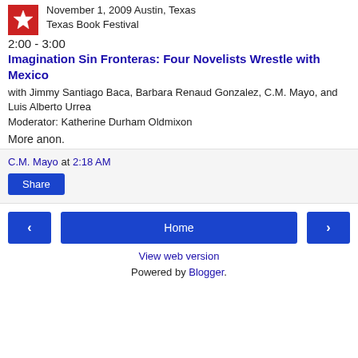November 1, 2009 Austin, Texas Texas Book Festival
2:00 - 3:00
Imagination Sin Fronteras: Four Novelists Wrestle with Mexico
with Jimmy Santiago Baca, Barbara Renaud Gonzalez, C.M. Mayo, and Luis Alberto Urrea
Moderator: Katherine Durham Oldmixon
More anon.
C.M. Mayo at 2:18 AM
Share
Home
View web version
Powered by Blogger.